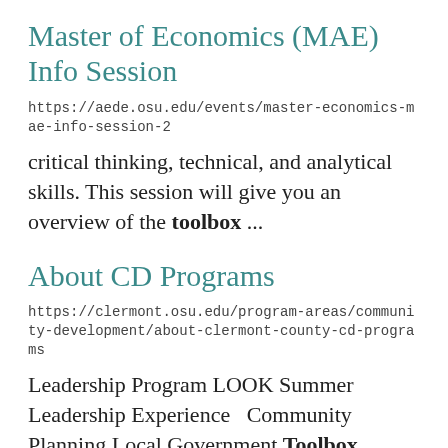Master of Economics (MAE) Info Session
https://aede.osu.edu/events/master-economics-mae-info-session-2
critical thinking, technical, and analytical skills. This session will give you an overview of the toolbox ...
About CD Programs
https://clermont.osu.edu/program-areas/community-development/about-clermont-county-cd-programs
Leadership Program LOOK Summer Leadership Experience  Community Planning Local Government Toolbox ...